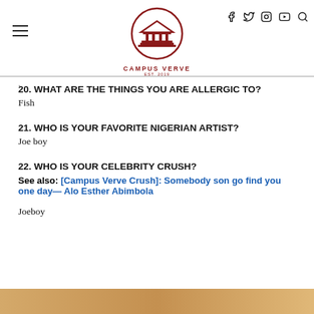Campus Verve EST. 2019
20. WHAT ARE THE THINGS YOU ARE ALLERGIC TO?
Fish
21. WHO IS YOUR FAVORITE NIGERIAN ARTIST?
Joe boy
22. WHO IS YOUR CELEBRITY CRUSH?
See also: [Campus Verve Crush]: Somebody son go find you one day— Alo Esther Abimbola
Joeboy
[Figure (photo): Bottom strip image, partially visible, warm orange/tan color]